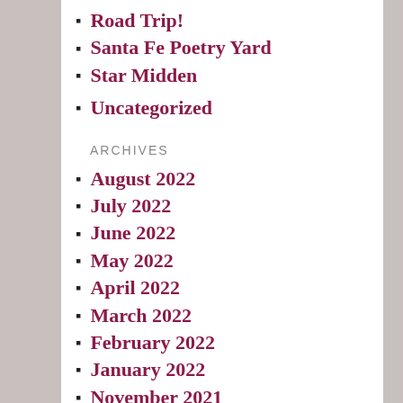Road Trip!
Santa Fe Poetry Yard
Star Midden
Uncategorized
ARCHIVES
August 2022
July 2022
June 2022
May 2022
April 2022
March 2022
February 2022
January 2022
November 2021
October 2021
September 2021
August 2021
July 2021
June 2021
May 2021